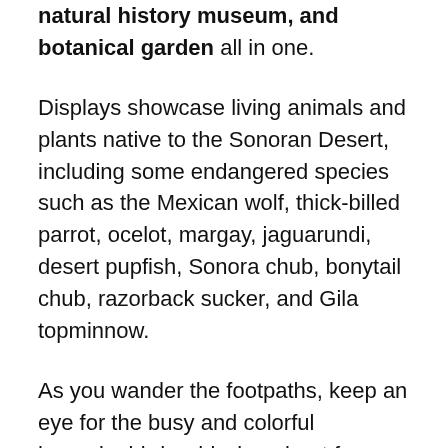natural history museum, and botanical garden all in one.
Displays showcase living animals and plants native to the Sonoran Desert, including some endangered species such as the Mexican wolf, thick-billed parrot, ocelot, margay, jaguarundi, desert pupfish, Sonora chub, bonytail chub, razorback sucker, and Gila topminnow.
As you wander the footpaths, keep an eye for the busy and colorful hummingbirds whizzing about from flower to flower. Approximately 40,000 plants representing 1,200 species can be seen here. Rock hounds will be in their element exploring the gem, mineral, and fossil collections.